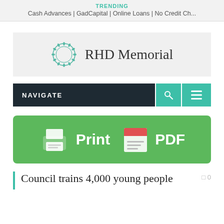TRENDING
Cash Advances | GadCapital | Online Loans | No Credit Ch...
[Figure (logo): RHD Memorial logo with circular wreath icon and text 'RHD Memorial']
[Figure (infographic): Navigation bar with NAVIGATE label, dark background, teal search and menu buttons]
[Figure (infographic): Green button with printer icon, text 'Print', PDF icon, text 'PDF']
Council trains 4,000 young people